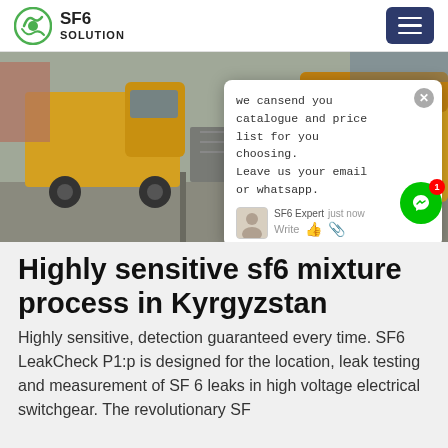SF6 SOLUTION
[Figure (photo): Two yellow Isuzu trucks parked on a concrete surface with equipment loaded on flatbed, industrial setting]
Highly sensitive sf6 mixture process in Kyrgyzstan
Highly sensitive, detection guaranteed every time. SF6 LeakCheck P1:p is designed for the location, leak testing and measurement of SF 6 leaks in high voltage electrical switchgear. The revolutionary SF